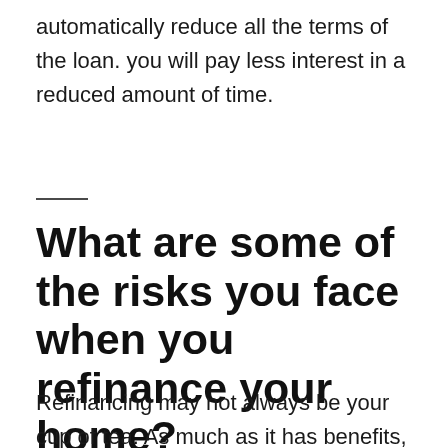automatically reduce all the terms of the loan. you will pay less interest in a reduced amount of time.
What are some of the risks you face when you refinance your home?
Refinancing may not always be your cup of tea. As much as it has benefits, the